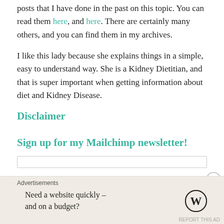posts that I have done in the past on this topic. You can read them here, and here. There are certainly many others, and you can find them in my archives.
I like this lady because she explains things in a simple, easy to understand way. She is a Kidney Dietitian, and that is super important when getting information about diet and Kidney Disease.
Disclaimer
Sign up for my Mailchimp newsletter!
Advertisements
Need a website quickly – and on a budget?